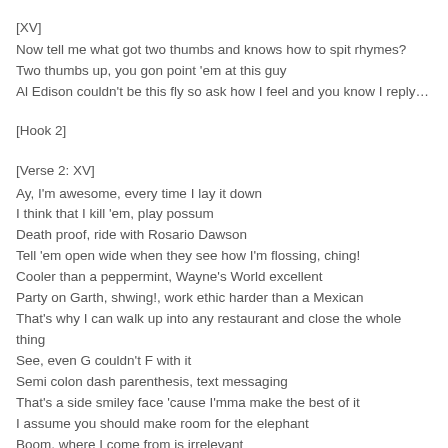[XV]
Now tell me what got two thumbs and knows how to spit rhymes?
Two thumbs up, you gon point 'em at this guy
Al Edison couldn't be this fly so ask how I feel and you know I reply…
[Hook 2]
[Verse 2: XV]
Ay, I'm awesome, every time I lay it down
I think that I kill 'em, play possum
Death proof, ride with Rosario Dawson
Tell 'em open wide when they see how I'm flossing, ching!
Cooler than a peppermint, Wayne's World excellent
Party on Garth, shwing!, work ethic harder than a Mexican
That's why I can walk up into any restaurant and close the whole thing
See, even G couldn't F with it
Semi colon dash parenthesis, text messaging
That's a side smiley face 'cause I'mma make the best of it
I assume you should make room for the elephant
Boom, where I come from is irrelevant
'Cause my glory is